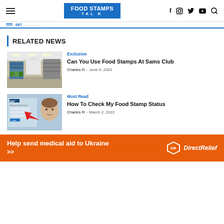FOOD STAMPS TALK — Navigation header with social icons
RELATED NEWS
[Figure (photo): Interior of a Sam's Club warehouse store with ceiling lights and merchandise displays]
Exclusive
Can You Use Food Stamps At Sams Club
Charles R - June 9, 2022
[Figure (photo): EBT card login screen with a child's face and red arrow pointing to it]
Must Read
How To Check My Food Stamp Status
Charles R - March 2, 2022
Help send medical aid to Ukraine >> Direct Relief